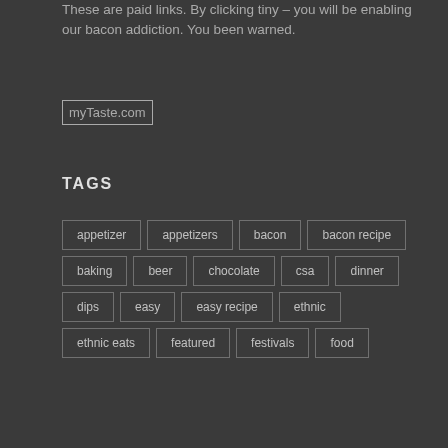These are paid links. By clicking tiny – you will be enabling our bacon addiction. You been warned.
[Figure (other): myTaste.com logo image placeholder]
TAGS
appetizer
appetizers
bacon
bacon recipe
baking
beer
chocolate
csa
dinner
dips
easy
easy recipe
ethnic
ethnic eats
featured
festivals
food